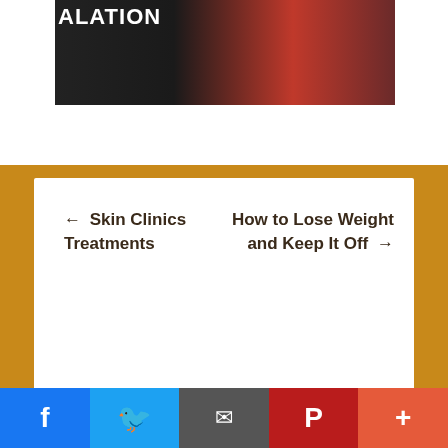[Figure (screenshot): Partial image with text overlay 'ALATION' on dark background with reddish tones — appears to be a cropped video/media thumbnail]
← Skin Clinics Treatments
How to Lose Weight and Keep It Off →
[Figure (screenshot): Partial view of a white card/section beginning to appear]
[Figure (other): Social sharing bar with Facebook, Twitter, Email, Pinterest, and More buttons]